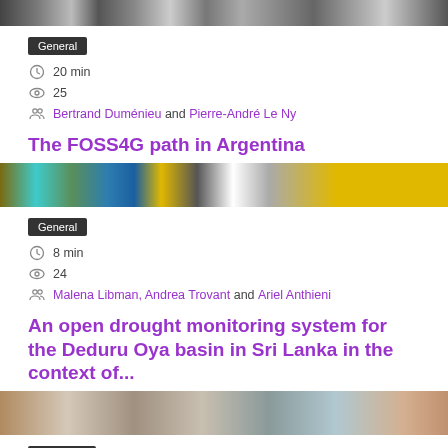[Figure (photo): Horizontal strip image at top of page, blurred presentation slides]
General
20 min
25
Bertrand Duménieu and Pierre-André Le Ny
The FOSS4G path in Argentina
[Figure (photo): Horizontal strip image, colorful blurred presentation slides with gold/teal colors]
General
8 min
24
Malena Libman, Andrea Trovant and Ariel Anthieni
An open drought monitoring system for the Deduru Oya basin in Sri Lanka in the context of...
[Figure (photo): Horizontal strip image, muted beige and grey tones]
Academic